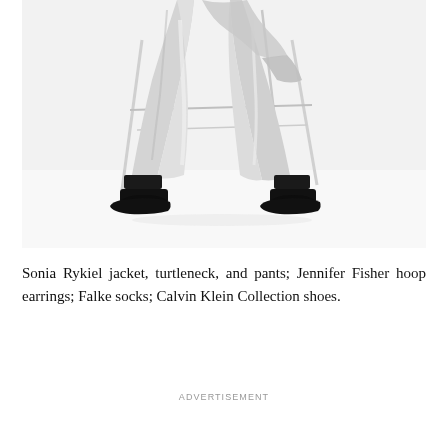[Figure (photo): Fashion photograph showing lower body of a model wearing silver/metallic pants, black socks, and black Calvin Klein shoes, seated on a white wire chair against a white background. Only the lower torso and legs are visible.]
Sonia Rykiel jacket, turtleneck, and pants; Jennifer Fisher hoop earrings; Falke socks; Calvin Klein Collection shoes.
ADVERTISEMENT